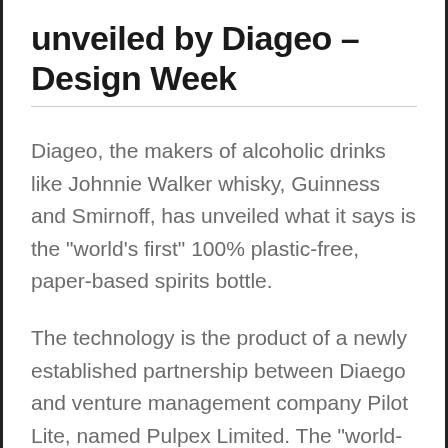unveiled by Diageo – Design Week
Diageo, the makers of alcoholic drinks like Johnnie Walker whisky, Guinness and Smirnoff, has unveiled what it says is the "world's first" 100% plastic-free, paper-based spirits bottle.
The technology is the product of a newly established partnership between Diaego and venture management company Pilot Lite, named Pulpex Limited. The "world-leading sustainable packaging